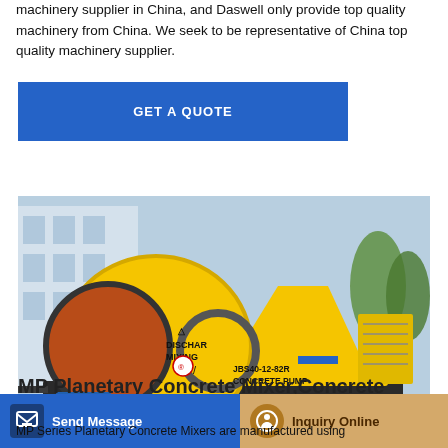machinery supplier in China, and Daswell only provide top quality machinery from China. We seek to be representative of China top quality machinery supplier.
GET A QUOTE
[Figure (photo): Yellow JBS40-12-82R concrete pump with mixer drum, labeled DISCHAR MIXING, mounted on wheeled trailer chassis outdoors]
MP Planetary Concrete Mixer,Concrete
MP Series Planetary Concrete Mixers are manufactured using
Send Message
Inquiry Online